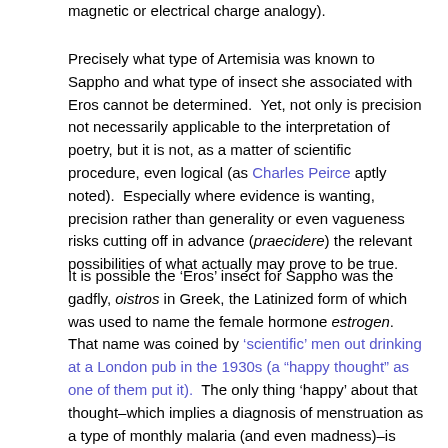magnetic or electrical charge analogy).
Precisely what type of Artemisia was known to Sappho and what type of insect she associated with Eros cannot be determined.  Yet, not only is precision not necessarily applicable to the interpretation of poetry, but it is not, as a matter of scientific procedure, even logical (as Charles Peirce aptly noted).  Especially where evidence is wanting, precision rather than generality or even vagueness risks cutting off in advance (praecidere) the relevant possibilities of what actually may prove to be true.
It is possible the ‘Eros’ insect for Sappho was the gadfly, oistros in Greek, the Latinized form of which was used to name the female hormone estrogen.  That name was coined by ‘scientific’ men out drinking at a London pub in the 1930s (a “happy thought” as one of them put it).  The only thing ‘happy’ about that thought–which implies a diagnosis of menstruation as a type of monthly malaria (and even madness)–is how it now can be related to S. 44(A)(a).  For some attribute Artemisia’s effectiveness in certain cases to its ability selectively to target estrogen dependent chemical processes.  Therefore, it would